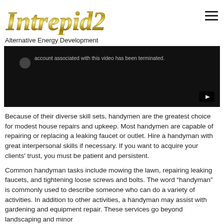[Figure (logo): Intrepid21 logo in gold italic serif font with gradient effect]
Alternative Energy Development
[Figure (screenshot): Embedded video player showing black screen with message: account associated with this video has been terminated. YouTube play button icon in bottom right corner.]
Because of their diverse skill sets, handymen are the greatest choice for modest house repairs and upkeep. Most handymen are capable of repairing or replacing a leaking faucet or outlet. Hire a handyman with great interpersonal skills if necessary. If you want to acquire your clients' trust, you must be patient and persistent.
Common handyman tasks include mowing the lawn, repairing leaking faucets, and tightening loose screws and bolts. The word “handyman” is commonly used to describe someone who can do a variety of activities. In addition to other activities, a handyman may assist with gardening and equipment repair. These services go beyond landscaping and minor